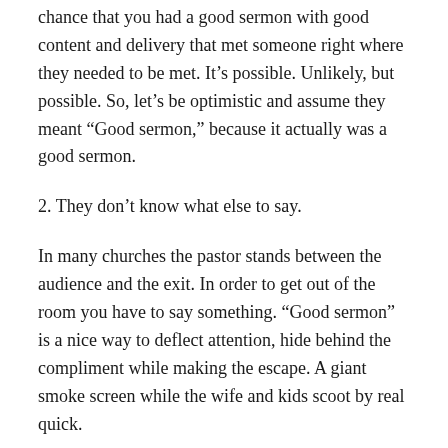chance that you had a good sermon with good content and delivery that met someone right where they needed to be met. It’s possible. Unlikely, but possible. So, let’s be optimistic and assume they meant “Good sermon,” because it actually was a good sermon.
2. They don’t know what else to say.
In many churches the pastor stands between the audience and the exit. In order to get out of the room you have to say something. “Good sermon” is a nice way to deflect attention, hide behind the compliment while making the escape. A giant smoke screen while the wife and kids scoot by real quick.
3. Lies, it’s all lies.